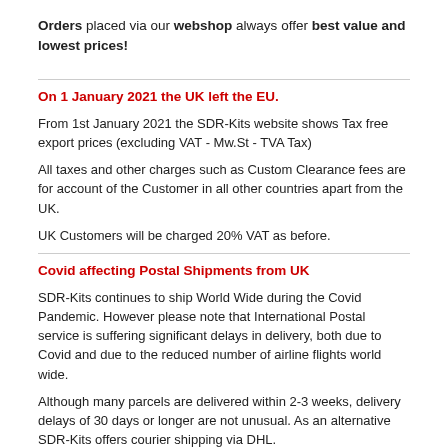Orders placed via our webshop always offer best value and lowest prices!
On 1 January 2021 the UK left the EU.
From 1st January 2021 the SDR-Kits website shows Tax free export prices (excluding VAT - Mw.St - TVA Tax)
All taxes and other charges such as Custom Clearance fees are for account of the Customer in all other countries apart from the UK.
UK Customers will be charged 20% VAT as before.
Covid affecting Postal Shipments from UK
SDR-Kits continues to ship World Wide during the Covid Pandemic. However please note that International Postal service is suffering significant delays in delivery, both due to Covid and due to the reduced number of airline flights world wide.
Although many parcels are delivered within 2-3 weeks, delivery delays of 30 days or longer are not unusual. As an alternative SDR-Kits offers courier shipping via DHL.